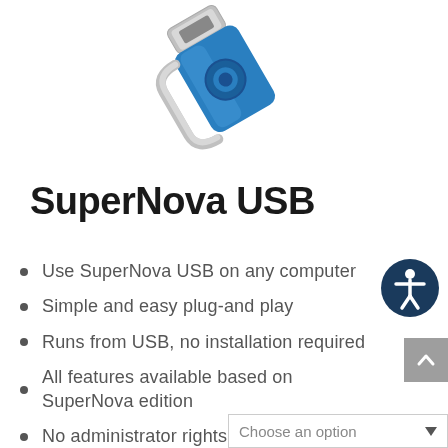[Figure (illustration): A blue USB flash drive with a silver cap/swivel connector, partially open, shown from an angled top-down perspective against a white background.]
SuperNova USB
[Figure (logo): Accessibility icon: a white stick figure person with arms outstretched inside a white circle, on a dark navy/teal circular background.]
Use SuperNova USB on any computer
Simple and easy plug-and play
Runs from USB, no installation required
All features available based on SuperNova edition
No administrator rights needed
Fully supports Windows 10 apps